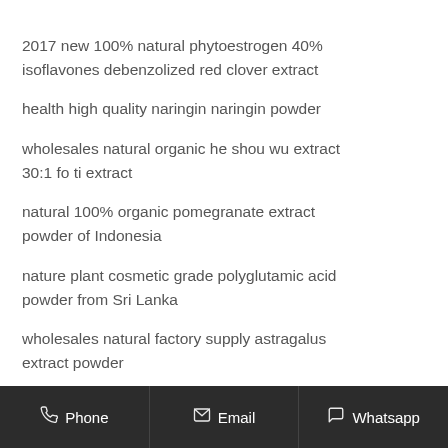2017 new 100% natural phytoestrogen 40% isoflavones debenzolized red clover extract
health high quality naringin naringin powder
wholesales natural organic he shou wu extract 30:1 fo ti extract
natural 100% organic pomegranate extract powder of Indonesia
nature plant cosmetic grade polyglutamic acid powder from Sri Lanka
wholesales natural factory supply astragalus extract powder
pure alpha arbutin powder 99%arbutin bearberry extract powder
high quality grade garlic extract 5% allicin
Phone   Email   Whatsapp